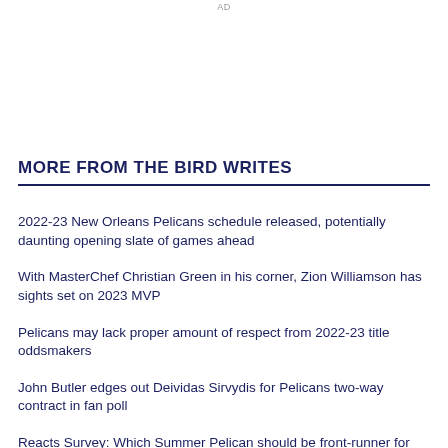AD
MORE FROM THE BIRD WRITES
2022-23 New Orleans Pelicans schedule released, potentially daunting opening slate of games ahead
With MasterChef Christian Green in his corner, Zion Williamson has sights set on 2023 MVP
Pelicans may lack proper amount of respect from 2022-23 title oddsmakers
John Butler edges out Deividas Sirvydis for Pelicans two-way contract in fan poll
Reacts Survey: Which Summer Pelican should be front-runner for two-way contract?